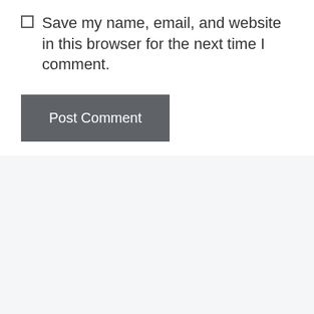Save my name, email, and website in this browser for the next time I comment.
Post Comment